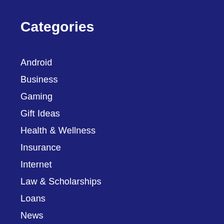Categories
Android
Business
Gaming
Gift Ideas
Health & Wellness
Insurance
Internet
Law & Scholarships
Loans
News
Science
Tech